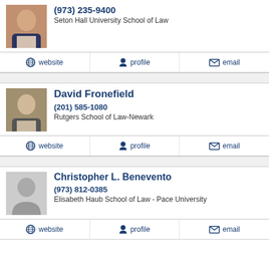(973) 235-9400
Seton Hall University School of Law
website | profile | email
David Fronefield
(201) 585-1080
Rutgers School of Law-Newark
website | profile | email
Christopher L. Benevento
(973) 812-0385
Elisabeth Haub School of Law - Pace University
website | profile | email